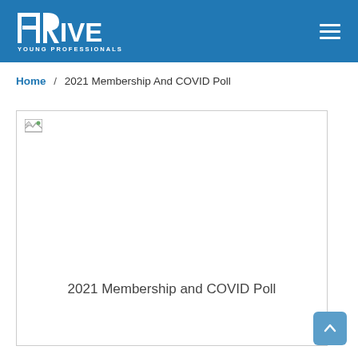THRive Young Professionals
Home / 2021 Membership And COVID Poll
[Figure (screenshot): Broken image placeholder with text '2021 Membership and COVID Poll' centered inside a white bordered box]
2021 Membership and COVID Poll